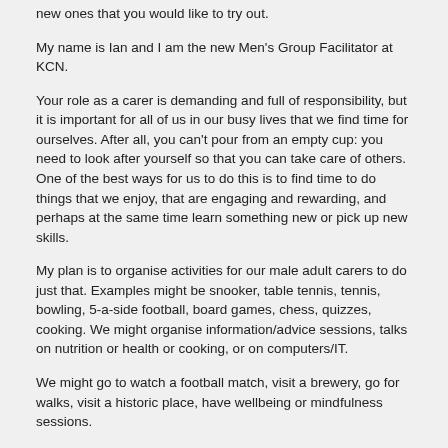new ones that you would like to try out.
My name is Ian and I am the new Men's Group Facilitator at KCN.
Your role as a carer is demanding and full of responsibility, but it is important for all of us in our busy lives that we find time for ourselves. After all, you can't pour from an empty cup: you need to look after yourself so that you can take care of others. One of the best ways for us to do this is to find time to do things that we enjoy, that are engaging and rewarding, and perhaps at the same time learn something new or pick up new skills.
My plan is to organise activities for our male adult carers to do just that. Examples might be snooker, table tennis, tennis, bowling, 5-a-side football, board games, chess, quizzes, cooking. We might organise information/advice sessions, talks on nutrition or health or cooking, or on computers/IT.
We might go to watch a football match, visit a brewery, go for walks, visit a historic place, have wellbeing or mindfulness sessions.
But these are just ideas: my focus is on you and what you would like to organise. At this point, please use this